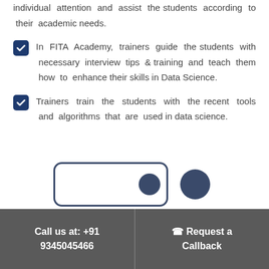individual attention and assist the students according to their academic needs.
In FITA Academy, trainers guide the students with necessary interview tips & training and teach them how to enhance their skills in Data Science.
Trainers train the students with the recent tools and algorithms that are used in data science.
[Figure (illustration): Two card-style UI components with rounded rectangle borders and avatar icons in dark navy blue, partially visible at the bottom of the content area.]
Call us at: +91 9345045466  |  Request a Callback